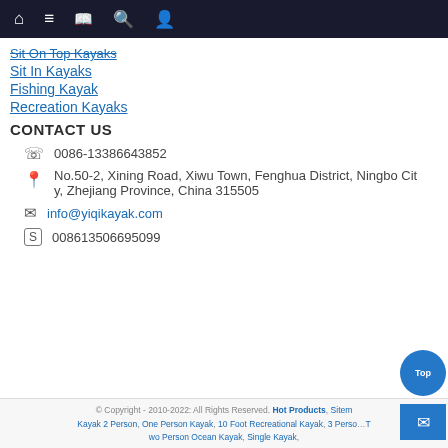[Navigation bar with home, menu, book, search, user icons]
Sit On Top Kayaks
Sit In Kayaks
Fishing Kayak
Recreation Kayaks
CONTACT US
0086-13386643852
No.50-2, Xining Road, Xiwu Town, Fenghua District, Ningbo City, Zhejiang Province, China 315505
info@yiqikayak.com
008613506695099
© Copyright - 2010-2022: All Rights Reserved. Hot Products, Sitemap Kayak 2 Person, One Person Kayak, 10 Foot Recreational Kayak, 3 Person T wo Person Ocean Kayak, Single Kayak,